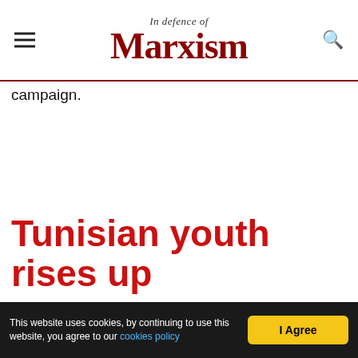In Defence of Marxism
campaign.
Tunisian youth rises up
This website uses cookies, by continuing to use this website, you agree to our cookies policy  I Agree